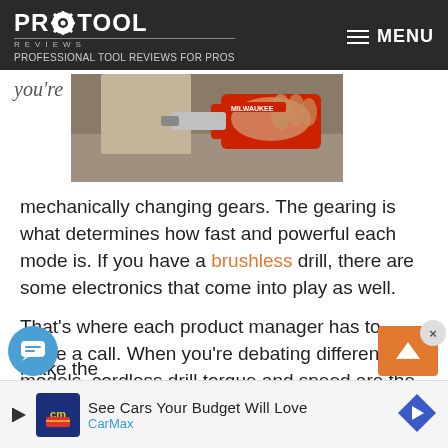PRO TOOL REVIEWS — PROFESSIONAL TOOL REVIEWS FOR PROS | MENU
[Figure (photo): Partial cropped text 'you're' on left, photo of hand holding a red power tool (drill/driver) on a wood surface on right]
mechanically changing gears. The gearing is what determines how fast and powerful each mode is. If you have a brushless drill, there are some electronics that come into play as well.
That's where each product manager has to make a call. When you're debating different models, cordless drill torque and speed are the two primary numbers most of us consider and big numbers look great on packaging.
[Figure (screenshot): Ad banner: See Cars Your Budget Will Love — CarMax, with CarMax logo and navigation arrow icon]
make the